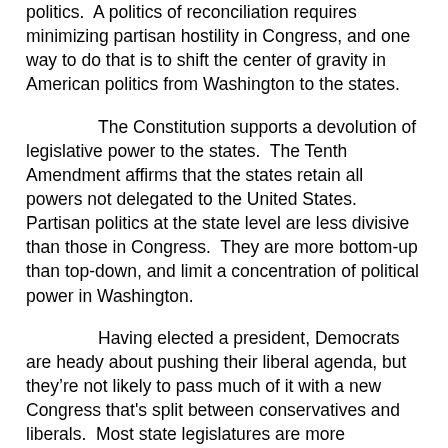politics.  A politics of reconciliation requires minimizing partisan hostility in Congress, and one way to do that is to shift the center of gravity in American politics from Washington to the states.
The Constitution supports a devolution of legislative power to the states.  The Tenth Amendment affirms that the states retain all powers not delegated to the United States.  Partisan politics at the state level are less divisive than those in Congress.  They are more bottom-up than top-down, and limit a concentration of political power in Washington.
Having elected a president, Democrats are heady about pushing their liberal agenda, but they’re not likely to pass much of it with a new Congress that's split between conservatives and liberals.  Most state legislatures are more moderate than Congress and can continue to make progress on major issues, while Congress remains gridlocked in partisan debate.
To restore a functioning Congress the states must assume more responsibility for contentious legislation on education, law enforcement, housing, health care and abortion.  That would